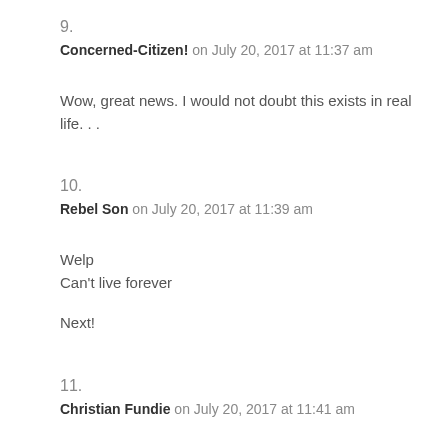9.
Concerned-Citizen! on July 20, 2017 at 11:37 am
Wow, great news. I would not doubt this exists in real life. . .
10.
Rebel Son on July 20, 2017 at 11:39 am
Welp
Can't live forever

Next!
11.
Christian Fundie on July 20, 2017 at 11:41 am
Nuclear war is unthinkable, just Fukoshima should tell us that. Fish stocks are being irratiated, radioactive